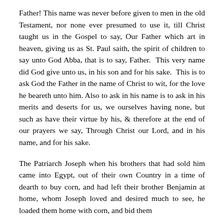Father! This name was never before given to men in the old Testament, nor none ever presumed to use it, till Christ taught us in the Gospel to say, Our Father which art in heaven, giving us as St. Paul saith, the spirit of children to say unto God Abba, that is to say, Father. This very name did God give unto us, in his son and for his sake. This is to ask God the Father in the name of Christ to wit, for the love he beareth unto him. Also to ask in his name is to ask in his merits and deserts for us, we ourselves having none, but such as have their virtue by his, & therefore at the end of our prayers we say, Through Christ our Lord, and in his name, and for his sake.
The Patriarch Joseph when his brothers that had sold him came into Egypt, out of their own Country in a time of dearth to buy corn, and had left their brother Benjamin at home, whom Joseph loved and desired much to see, he loaded them home with corn, and bid them